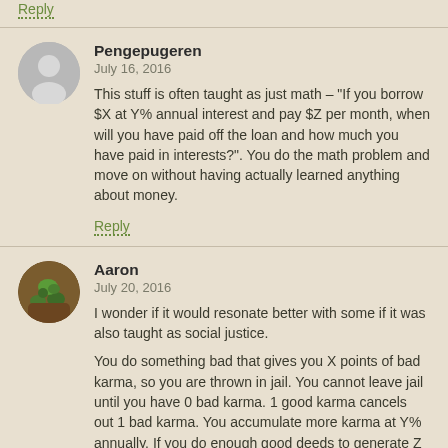Reply
Pengepugeren
July 16, 2016
This stuff is often taught as just math – "If you borrow $X at Y% annual interest and pay $Z per month, when will you have paid off the loan and how much you have paid in interests?". You do the math problem and move on without having actually learned anything about money.
Reply
Aaron
July 20, 2016
I wonder if it would resonate better with some if it was also taught as social justice.
You do something bad that gives you X points of bad karma, so you are thrown in jail. You cannot leave jail until you have 0 bad karma. 1 good karma cancels out 1 bad karma. You accumulate more karma at Y% annually. If you do enough good deeds to generate Z points of